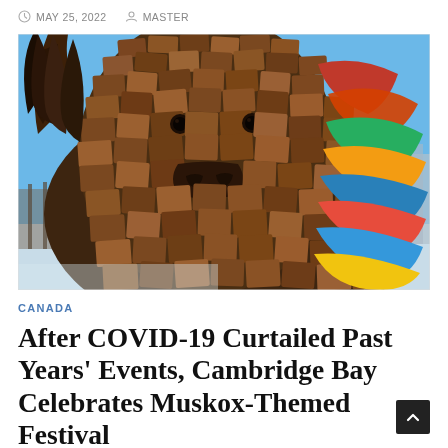MAY 25, 2022   MASTER
[Figure (photo): Close-up of a large musk ox sculpture made from layered wooden planks and colorful painted boards, photographed against a blue sky with snowy background]
CANADA
After COVID-19 Curtailed Past Years' Events, Cambridge Bay Celebrates Muskox-Themed Festival